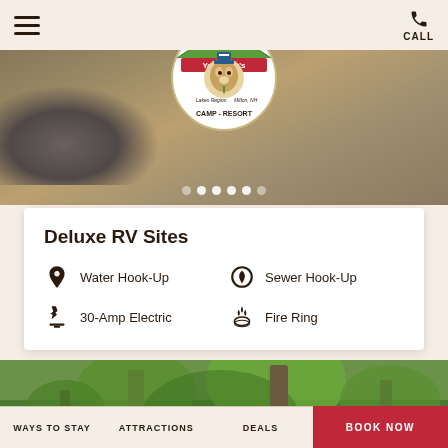[Figure (photo): Outdoor landscape photo showing rocky terrain with trees and gravel path, hero banner image of Yogi Bear's Jellystone Park Camp Resort]
[Figure (logo): Jellystone Park Yogi Bear's Camp Resort logo — circular badge with Yogi Bear character, green and red banner text on white circle]
Deluxe RV Sites
Water Hook-Up
Sewer Hook-Up
30-Amp Electric
Fire Ring
[Figure (photo): Forest photo showing tall trees with green foliage, outdoor camping environment]
WAYS TO STAY   ATTRACTIONS   DEALS   BOOK NOW